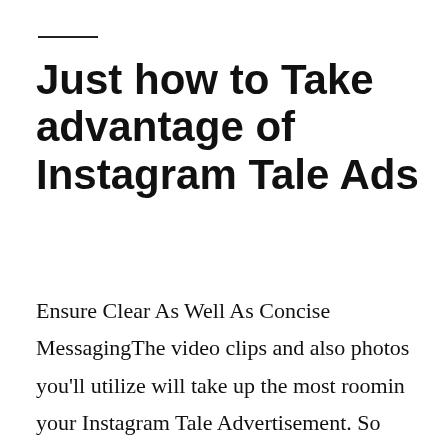Just how to Take advantage of Instagram Tale Ads
Ensure Clear As Well As Concise MessagingThe video clips and also photos you'll utilize will take up the most roomin your Instagram Tale Advertisement. So there's not much area left for text aspects to